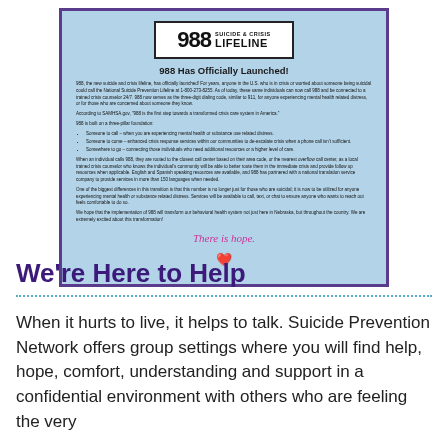[Figure (infographic): 988 Suicide & Crisis Lifeline flyer with light blue background and purple border. Contains the 988 logo, title '988 Has Officially Launched!', several paragraphs of body text about the lifeline, bullet points, and 'There is hope.' text with a decorative heart graphic.]
We're Here to Help
When it hurts to live, it helps to talk. Suicide Prevention Network offers group settings where you will find help, hope, comfort, understanding and support in a confidential environment with others who are feeling the very